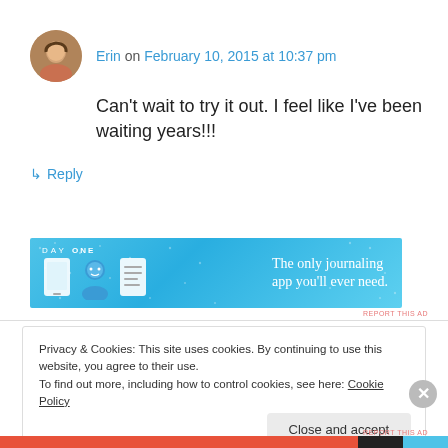Erin on February 10, 2015 at 10:37 pm
Can't wait to try it out. I feel like I've been waiting years!!!
↳ Reply
[Figure (illustration): Day One journaling app advertisement banner. Light blue background with DAY ONE text, three app icons (tablet, person, notebook), and tagline 'The only journaling app you'll ever need.']
Privacy & Cookies: This site uses cookies. By continuing to use this website, you agree to their use.
To find out more, including how to control cookies, see here: Cookie Policy
Close and accept